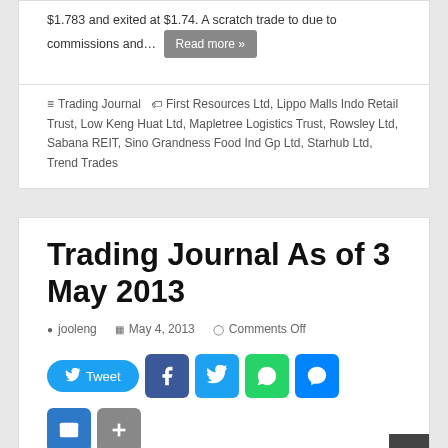$1.783 and exited at $1.74. A scratch trade to due to commissions and… Read more »
Trading Journal  First Resources Ltd, Lippo Malls Indo Retail Trust, Low Keng Huat Ltd, Mapletree Logistics Trust, Rowsley Ltd, Sabana REIT, Sino Grandness Food Ind Gp Ltd, Starhub Ltd, Trend Trades
Trading Journal As of 3 May 2013
jooleng  May 4, 2013  Comments Off
[Figure (other): Social sharing buttons: Tweet, Facebook, Twitter, WhatsApp, Messenger, Email, Share]